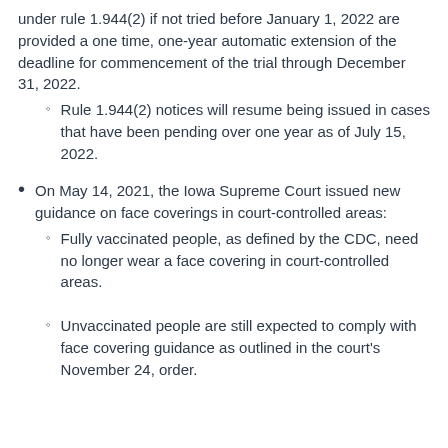under rule 1.944(2) if not tried before January 1, 2022 are provided a one time, one-year automatic extension of the deadline for commencement of the trial through December 31, 2022.
Rule 1.944(2) notices will resume being issued in cases that have been pending over one year as of July 15, 2022.
On May 14, 2021, the Iowa Supreme Court issued new guidance on face coverings in court-controlled areas:
Fully vaccinated people, as defined by the CDC, need no longer wear a face covering in court-controlled areas.
Unvaccinated people are still expected to comply with face covering guidance as outlined in the court's November 24, order.